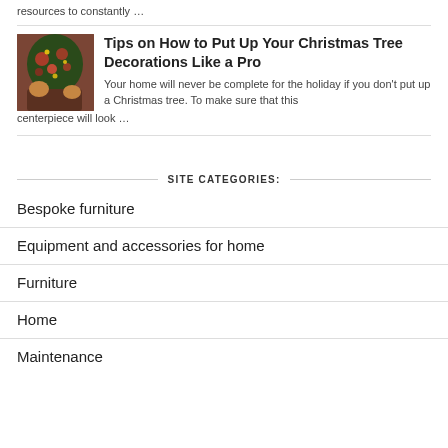resources to constantly …
[Figure (photo): Thumbnail image of Christmas tree decorations being arranged]
Tips on How to Put Up Your Christmas Tree Decorations Like a Pro
Your home will never be complete for the holiday if you don't put up a Christmas tree. To make sure that this centerpiece will look …
SITE CATEGORIES:
Bespoke furniture
Equipment and accessories for home
Furniture
Home
Maintenance